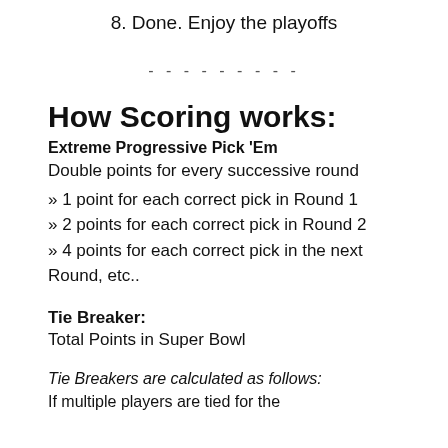8. Done. Enjoy the playoffs
- - - - - - - - -
How Scoring works:
Extreme Progressive Pick 'Em
Double points for every successive round
» 1 point for each correct pick in Round 1
» 2 points for each correct pick in Round 2
» 4 points for each correct pick in the next Round, etc..
Tie Breaker:
Total Points in Super Bowl
Tie Breakers are calculated as follows:
If multiple players are tied for the